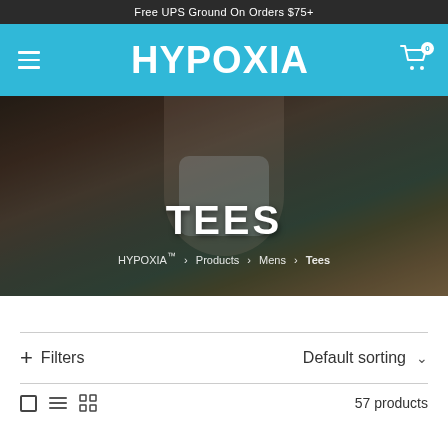Free UPS Ground On Orders $75+
HYPOXIA
[Figure (photo): Hero banner image of a man wearing a Hypoxia cap and light blue t-shirt, leaning against a vintage car outdoors with graffiti wall and foliage in background. Text overlay reads TEES with breadcrumb navigation: HYPOXIA™ > Products > Mens > Tees]
+ Filters
Default sorting
57 products